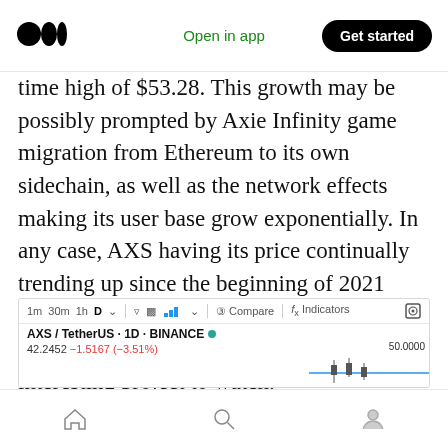Medium logo | Open in app | Get started
time high of $53.28. This growth may be possibly prompted by Axie Infinity game migration from Ethereum to its own sidechain, as well as the network effects making its user base grow exponentially. In any case, AXS having its price continually trending up since the beginning of 2021 through the summer makes it a fairly unique player in the crypto world and a very interesting project to watch.
[Figure (screenshot): TradingView chart widget showing AXS/TetherUS 1D BINANCE with price 42.2452 and change -1.5167 (-3.51%), chart toolbar with 1m 30m 1h D timeframes, Compare and Indicators buttons, and a partial candlestick/line chart with level 50.0000 shown.]
Home | Search | Profile navigation icons